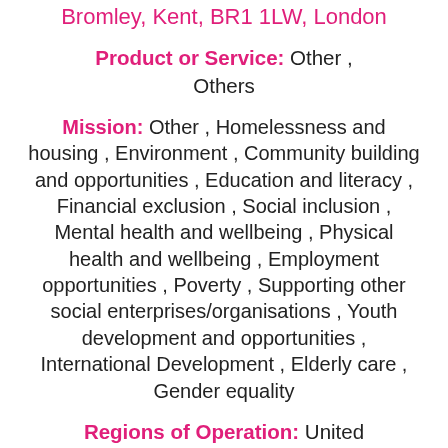Bromley, Kent, BR1 1LW, London
Product or Service: Other , Others
Mission: Other , Homelessness and housing , Environment , Community building and opportunities , Education and literacy , Financial exclusion , Social inclusion , Mental health and wellbeing , Physical health and wellbeing , Employment opportunities , Poverty , Supporting other social enterprises/organisations , Youth development and opportunities , International Development , Elderly care , Gender equality
Regions of Operation: United Kingdom